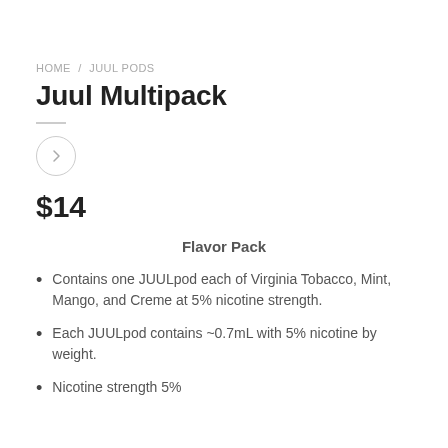HOME / JUUL PODS
Juul Multipack
$14
Flavor Pack
Contains one JUULpod each of Virginia Tobacco, Mint, Mango, and Creme at 5% nicotine strength.
Each JUULpod contains ~0.7mL with 5% nicotine by weight.
Nicotine strength 5%